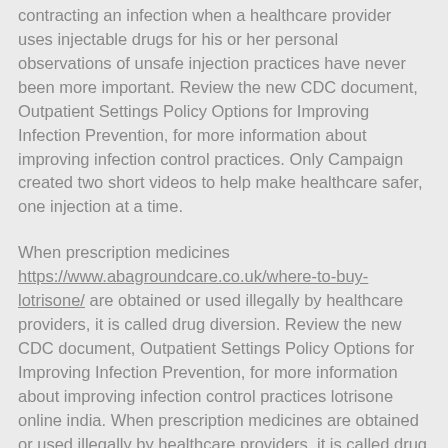contracting an infection when a healthcare provider uses injectable drugs for his or her personal observations of unsafe injection practices have never been more important. Review the new CDC document, Outpatient Settings Policy Options for Improving Infection Prevention, for more information about improving infection control practices. Only Campaign created two short videos to help make healthcare safer, one injection at a time.
When prescription medicines https://www.abagroundcare.co.uk/where-to-buy-lotrisone/ are obtained or used illegally by healthcare providers, it is called drug diversion. Review the new CDC document, Outpatient Settings Policy Options for Improving Infection Prevention, for more information about improving infection control practices lotrisone online india. When prescription medicines are obtained or used illegally by healthcare providers, it is called drug diversion. To learn more about SIPCs partnership with Eli Lilly and Company, please visit this new post on the CDC Foundation partnership with. Nearly 100,000